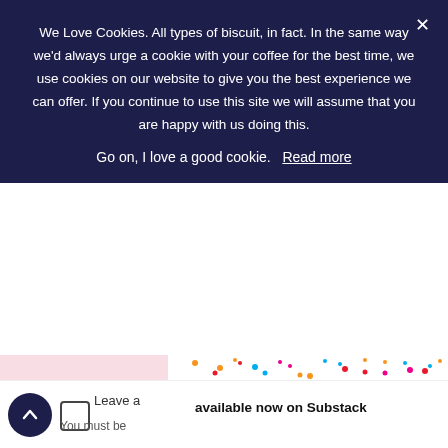We Love Cookies. All types of biscuit, in fact. In the same way we'd always urge a cookie with your coffee for the best time, we use cookies on our website to give you the best experience we can offer. If you continue to use this site we will assume that you are happy with us doing this.
Go on, I love a good cookie.   Read more
[Figure (logo): The Motherload newsletter logo with colorful text — 'the' in orange, 'mother' in pink/dark blue, 'load' in yellow/dark blue, with a cyan circle on the 'o' — and 'newsletter' text below, with colorful confetti dots scattered around]
No comments yet — be the first to share your thought.
Leave a comment
Leave a comment
You must be logged in to post a comment.
available now on Substack